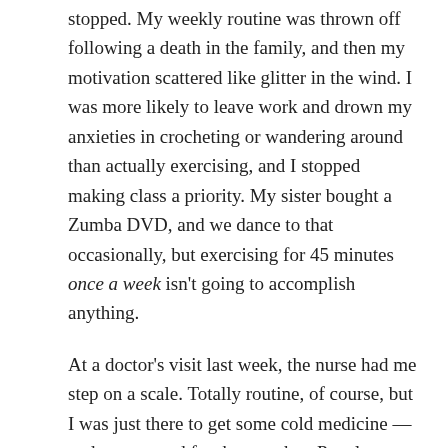stopped. My weekly routine was thrown off following a death in the family, and then my motivation scattered like glitter in the wind. I was more likely to leave work and drown my anxieties in crocheting or wandering around than actually exercising, and I stopped making class a priority. My sister bought a Zumba DVD, and we dance to that occasionally, but exercising for 45 minutes once a week isn't going to accomplish anything.
At a doctor's visit last week, the nurse had me step on a scale. Totally routine, of course, but I was just there to get some cold medicine — and unprepared for that number. People say, “Oh, I didn’t realize how much weight I’d gained until I saw myself in photos” — and I certainly have cringed at the way I’ve looked recently.